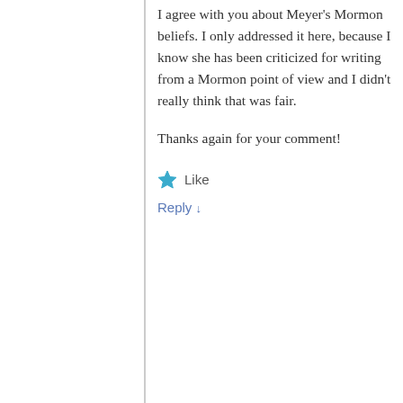I agree with you about Meyer's Mormon beliefs. I only addressed it here, because I know she has been criticized for writing from a Mormon point of view and I didn't really think that was fair.

Thanks again for your comment!
Like
Reply ↓
John Erickson
November 23, 2011 • 12:33 am
[Figure (photo): Avatar photo of John Erickson, a person wearing glasses and a bow tie]
Martha,
I just recently got a great book called The Gospel According to Twilight. I think you would really enjoy it. I am working on a post about Twilight and Feminism for this blog that will hopefully go up soon (I look forward to your comments on it) but in the meantime, I thought you would enjoy that book (if you haven't already read it!)